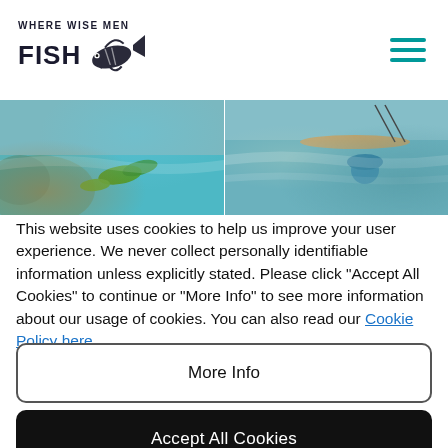[Figure (logo): Where Wise Men Fish logo with fish illustration and teal hamburger menu icon]
[Figure (photo): Two side-by-side fishing scene photos: left shows colorful fish near rocks in turquoise water, right shows a person fishing from a kayak on calm water]
This website uses cookies to help us improve your user experience. We never collect personally identifiable information unless explicitly stated. Please click "Accept All Cookies" to continue or "More Info" to see more information about our usage of cookies. You can also read our Cookie Policy here.
More Info
Accept All Cookies